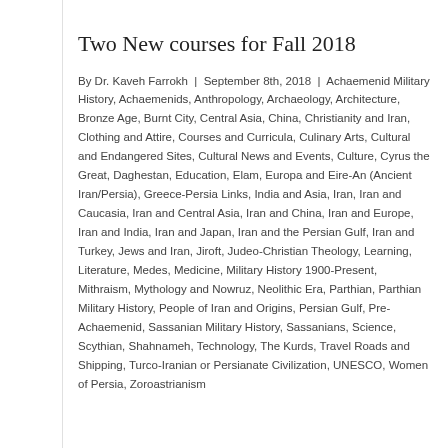Two New courses for Fall 2018
By Dr. Kaveh Farrokh | September 8th, 2018 | Achaemenid Military History, Achaemenids, Anthropology, Archaeology, Architecture, Bronze Age, Burnt City, Central Asia, China, Christianity and Iran, Clothing and Attire, Courses and Curricula, Culinary Arts, Cultural and Endangered Sites, Cultural News and Events, Culture, Cyrus the Great, Daghestan, Education, Elam, Europa and Eire-An (Ancient Iran/Persia), Greece-Persia Links, India and Asia, Iran, Iran and Caucasia, Iran and Central Asia, Iran and China, Iran and Europe, Iran and India, Iran and Japan, Iran and the Persian Gulf, Iran and Turkey, Jews and Iran, Jiroft, Judeo-Christian Theology, Learning, Literature, Medes, Medicine, Military History 1900-Present, Mithraism, Mythology and Nowruz, Neolithic Era, Parthian, Parthian Military History, People of Iran and Origins, Persian Gulf, Pre-Achaemenid, Sassanian Military History, Sassanians, Science, Scythian, Shahnameh, Technology, The Kurds, Travel Roads and Shipping, Turco-Iranian or Persianate Civilization, UNESCO, Women of Persia, Zoroastrianism